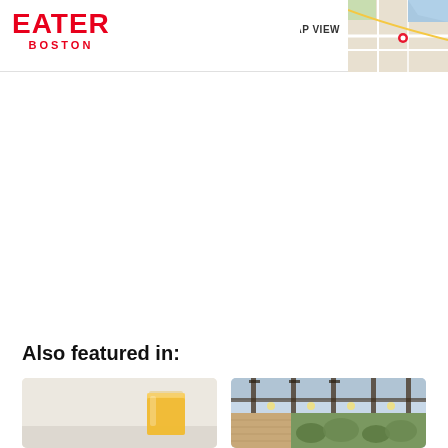EATER BOSTON
[Figure (map): Google Maps thumbnail showing Boston area map with MAP VIEW label]
Also featured in:
[Figure (photo): Photo of a glass of orange/yellow juice drink on a light background]
[Figure (photo): Interior photo of a restaurant or greenhouse space with overhead beams, pendant lights, and plants]